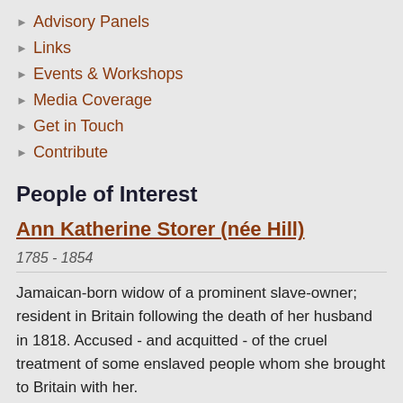Advisory Panels
Links
Events & Workshops
Media Coverage
Get in Touch
Contribute
People of Interest
Ann Katherine Storer (née Hill)
1785 - 1854
Jamaican-born widow of a prominent slave-owner; resident in Britain following the death of her husband in 1818. Accused - and acquitted - of the cruel treatment of some enslaved people whom she brought to Britain with her.